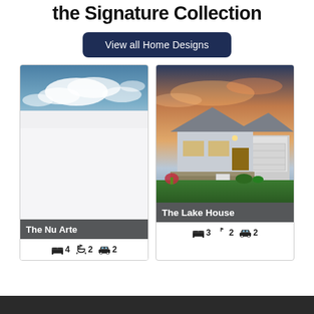the Signature Collection
View all Home Designs
[Figure (photo): Card showing The Nu Arte home design with sky and clouds image, 4 bedrooms, 2 bathrooms, 2 garage]
[Figure (photo): Card showing The Lake House home design with exterior photo at sunset, 3 bedrooms, 2 bathrooms, 2 garage]